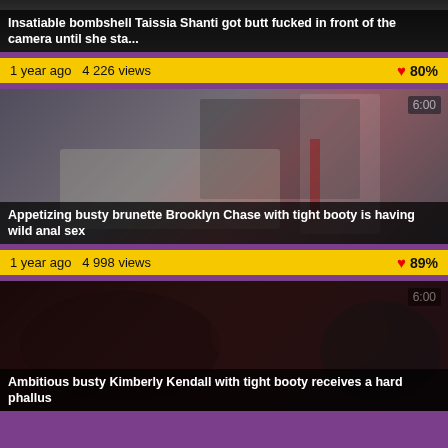[Figure (screenshot): Video thumbnail 1 - Taissia Shanti]
Insatiable bombshell Taissia Shanti got butt fucked in front of the camera until she sta...
1 year ago  4 226 views  80%
[Figure (screenshot): Video thumbnail 2 - Brooklyn Chase classroom scene, duration 6:00]
Appetizing busty brunette Brooklyn Chase with tight booty is having wild anal sex
1 year ago  4 998 views  89%
[Figure (screenshot): Video thumbnail 3 - Kimberly Kendall scene, duration 6:00]
Ambitious busty Kimberly Kendall with tight booty receives a hard phallus